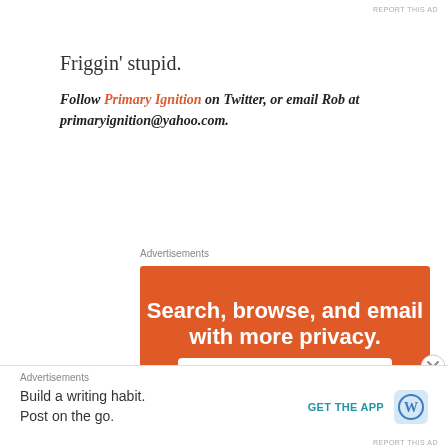REPORT THIS AD
Friggin' stupid.
Follow Primary Ignition on Twitter, or email Rob at primaryignition@yahoo.com.
Advertisements
[Figure (illustration): DuckDuckGo advertisement on orange background: 'Search, browse, and email with more privacy. All in One Free App' with a phone showing the DuckDuckGo duck logo.]
Advertisements
[Figure (illustration): WordPress advertisement: 'Build a writing habit. Post on the go.' with GET THE APP button and WordPress logo.]
REPORT THIS AD